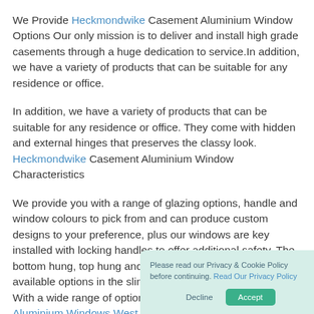We Provide Heckmondwike Casement Aluminium Window Options Our only mission is to deliver and install high grade casements through a huge dedication to service.In addition, we have a variety of products that can be suitable for any residence or office.
In addition, we have a variety of products that can be suitable for any residence or office. They come with hidden and external hinges that preserves the classy look. Heckmondwike Casement Aluminium Window Characteristics
We provide you with a range of glazing options, handle and window colours to pick from and can produce custom designs to your preference, plus our windows are key installed with locking handles to offer additional safety. The bottom hung, top hung and the side hung designs are the available options in the slim frame and top energy type. With a wide range of options to pick around Heckmondwike, Aluminium Windows West Yorkshire casement windows has set itself apart as the
Please read our Privacy & Cookie Policy before continuing. Read Our Privacy Policy